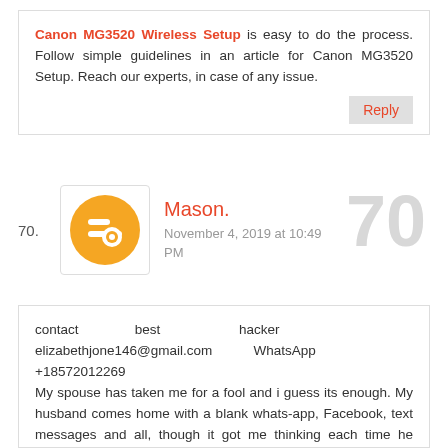Canon MG3520 Wireless Setup is easy to do the process. Follow simple guidelines in an article for Canon MG3520 Setup. Reach our experts, in case of any issue.
Reply
70. Mason. November 4, 2019 at 10:49 PM
contact best hacker elizabethjone146@gmail.com WhatsApp +18572012269 My spouse has taken me for a fool and i guess its enough. My husband comes home with a blank whats-app, Facebook, text messages and all, though it got me thinking each time he comes home he clears all his chat, i talked to my friend about this